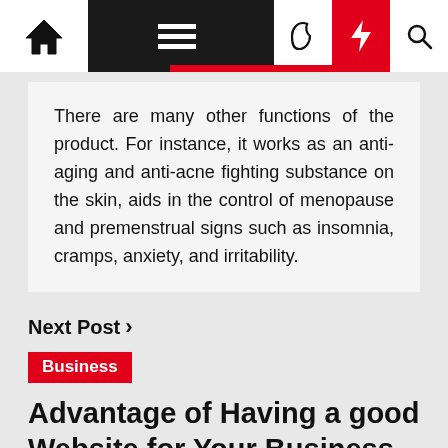Navigation bar with home, menu, moon, bolt, and search icons
There are many other functions of the product. For instance, it works as an anti-aging and anti-acne fighting substance on the skin, aids in the control of menopause and premenstrual signs such as insomnia, cramps, anxiety, and irritability.
Next Post >
Business
Advantage of Having a good Website for Your Business
Tue Jul 18 , 2017
Today, people spend most of their time on the internet